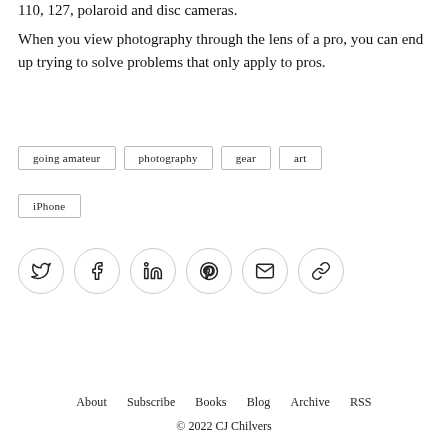110, 127, polaroid and disc cameras.
When you view photography through the lens of a pro, you can end up trying to solve problems that only apply to pros.
going amateur
photography
gear
art
iPhone
[Figure (infographic): Social share icons: Twitter, Facebook, LinkedIn, Pinterest, Email, Link]
About  Subscribe  Books  Blog  Archive  RSS
© 2022 CJ Chilvers